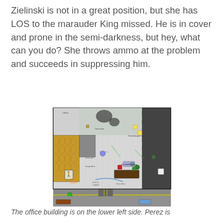Zielinski is not in a great position, but she has LOS to the marauder King missed. He is in cover and prone in the semi-darkness, but hey, what can you do? She throws ammo at the problem and succeeds in suppressing him.
[Figure (map): Top-down tactical map showing a game board with hexagonal terrain tiles, buildings including an office building lower left, roads with yellow lines, vehicles, trees, and various game tokens and labels.]
The office building is on the lower left side. Perez is